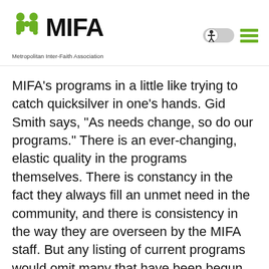MIFA Metropolitan Inter-Faith Association
MIFA's programs in a little like trying to catch quicksilver in one's hands. Gid Smith says, “As needs change, so do our programs.” There is an ever-changing, elastic quality in the programs themselves. There is constancy in the fact they always fill an unmet need in the community, and there is consistency in the way they are overseen by the MIFA staff. But any listing of current programs would omit many that have been begun, brought to a level of functioning well, and which are now no longer part of the MIFA list. They are, nevertheless, part of the history of MIFA.